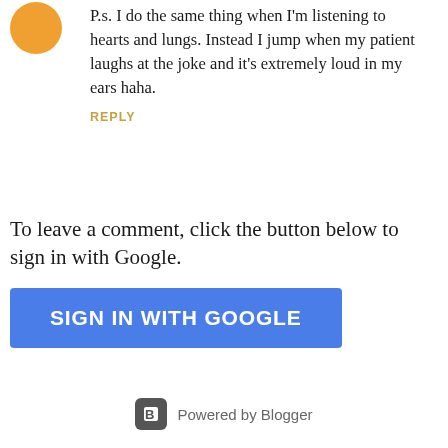[Figure (illustration): Orange circular avatar icon in top left]
P.s. I do the same thing when I'm listening to hearts and lungs. Instead I jump when my patient laughs at the joke and it's extremely loud in my ears haha.
REPLY
To leave a comment, click the button below to sign in with Google.
[Figure (screenshot): Blue button labeled SIGN IN WITH GOOGLE]
Powered by Blogger